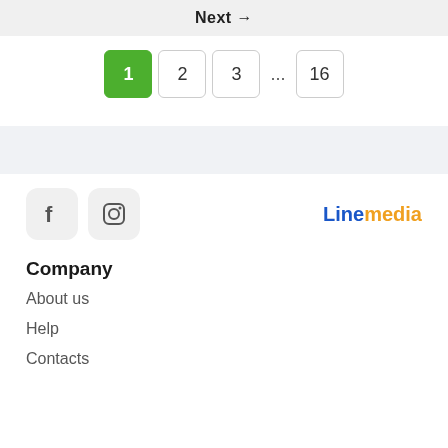Next →
1  2  3  ...  16
[Figure (other): Social media icons: Facebook and Instagram icon buttons, and Linemedia logo]
Company
About us
Help
Contacts